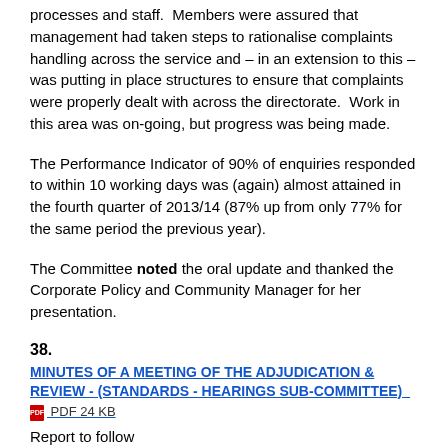processes and staff.  Members were assured that management had taken steps to rationalise complaints handling across the service and – in an extension to this – was putting in place structures to ensure that complaints were properly dealt with across the directorate.  Work in this area was on-going, but progress was being made.
The Performance Indicator of 90% of enquiries responded to within 10 working days was (again) almost attained in the fourth quarter of 2013/14 (87% up from only 77% for the same period the previous year).
The Committee noted the oral update and thanked the Corporate Policy and Community Manager for her presentation.
38.
MINUTES OF A MEETING OF THE ADJUDICATION & REVIEW - (STANDARDS - HEARINGS SUB-COMMITTEE)  PDF 24 KB
Report to follow
Additional documents:
Draft public minute  PDF 50 KB